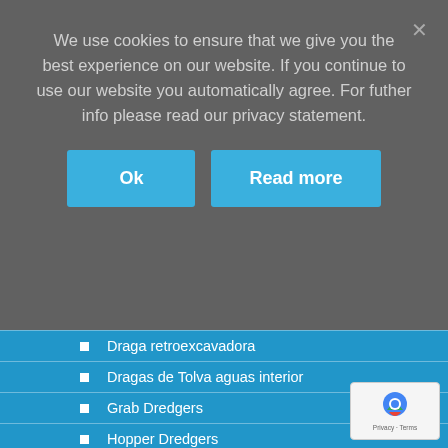We use cookies to ensure that we give you the best experience on our website. If you continue to use our website you automatically agree. For futher info please read our privacy statement.
[Figure (other): Cookie consent overlay with Ok and Read more buttons on dark grey background]
Draga retroexcavadora
Dragas de Tolva aguas interior
Grab Dredgers
Hopper Dredgers
Split Hopper Barges
Fast Supply Vessels & Crewboats
Land Based Equipment / Lattice boom cranes
Offshore Vessels
AHTS / AHT vessels